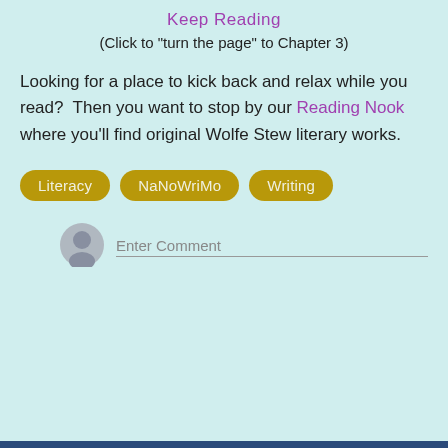Keep Reading
(Click to "turn the page" to Chapter 3)
Looking for a place to kick back and relax while you read?  Then you want to stop by our Reading Nook where you'll find original Wolfe Stew literary works.
Literacy
NaNoWriMo
Writing
Enter Comment